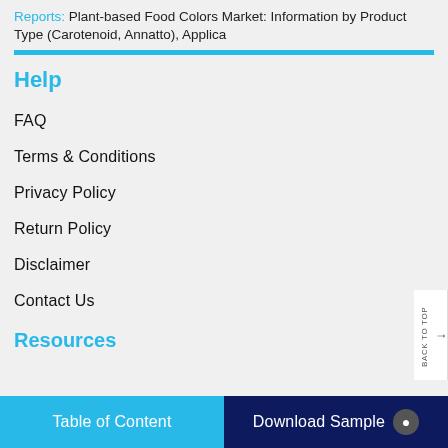Reports: Plant-based Food Colors Market: Information by Product Type (Carotenoid, Annatto), Applica
Help
FAQ
Terms & Conditions
Privacy Policy
Return Policy
Disclaimer
Contact Us
Resources
Table of Content | Download Sample